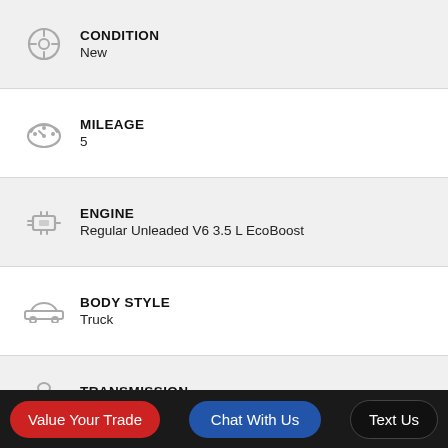CONDITION
New
MILEAGE
5
ENGINE
Regular Unleaded V6 3.5 L EcoBoost
BODY STYLE
Truck
TRANSMISSION
10-Speed Automatic w/OD
GAS MILEAGE
20* CTY / 23* HWY
Value Your Trade
Chat With Us
Text Us